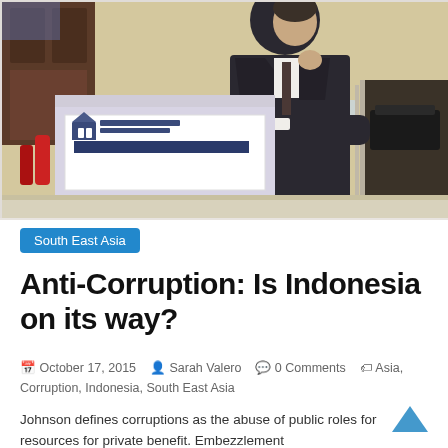[Figure (photo): A man in a dark suit speaking at a podium with a Seton Hall University School of Diplomacy and International Relations sign, in what appears to be a conference room setting.]
South East Asia
Anti-Corruption: Is Indonesia on its way?
October 17, 2015   Sarah Valero   0 Comments   Asia, Corruption, Indonesia, South East Asia
Johnson defines corruptions as the abuse of public roles for resources for private benefit. Embezzlement